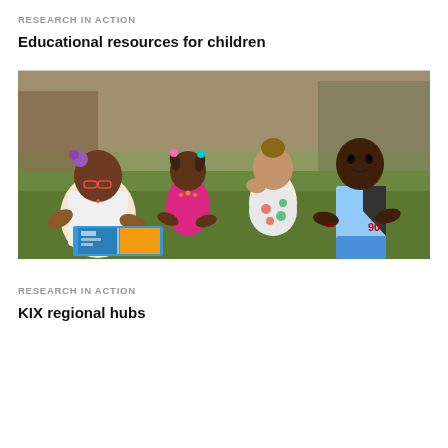RESEARCH IN ACTION
Educational resources for children
[Figure (photo): An adult woman with glasses and hair decoration reads a colorful book with three young children seated outdoors on grass. The children are engaged, looking at the book pages.]
RESEARCH IN ACTION
KIX regional hubs